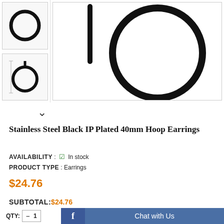[Figure (photo): Thumbnail images of black stainless steel hoop earrings (two thumbnails: top shows circle shape, bottom shows earring with measurement diagram) and a large main product image showing the side profile of black hoop earrings on white background]
Stainless Steel Black IP Plated 40mm Hoop Earrings
AVAILABILITY : ✔ In stock
PRODUCT TYPE : Earrings
$24.76
SUBTOTAL:$24.76
QTY: — 1